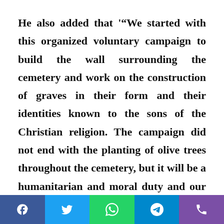He also added that '"We started with this organized voluntary campaign to build the wall surrounding the cemetery and work on the construction of graves in their form and their identities known to the sons of the Christian religion. The campaign did not end with the planting of olive trees throughout the cemetery, but it will be a humanitarian and moral duty and our obligation to our Christian brothers to preserve their history and their memories".
[Figure (other): Social media share buttons: Facebook (blue), Twitter (light blue), WhatsApp (green), Telegram (blue), Phone/Viber (purple)]